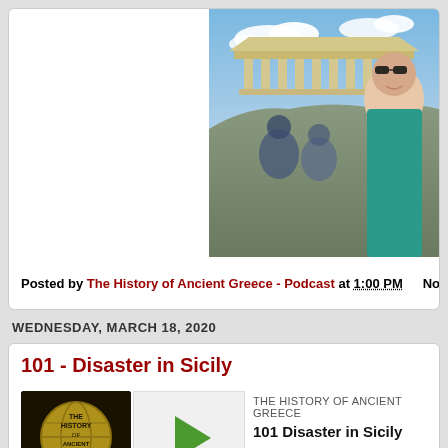[Figure (photo): Photo of a man with sunglasses smiling in front of the Parthenon/Acropolis in Athens, Greece. Blue sky with clouds visible.]
Posted by The History of Ancient Greece - Podcast at 1:00 PM   No co...
WEDNESDAY, MARCH 18, 2020
101 - Disaster in Sicily
[Figure (other): Podcast player showing The History of Ancient Greece podcast, episode '101 Disaster in Sicily'. Play button visible, progress bar showing 00:00:00 / 01:50:28. Logo with globe and text visible on left.]